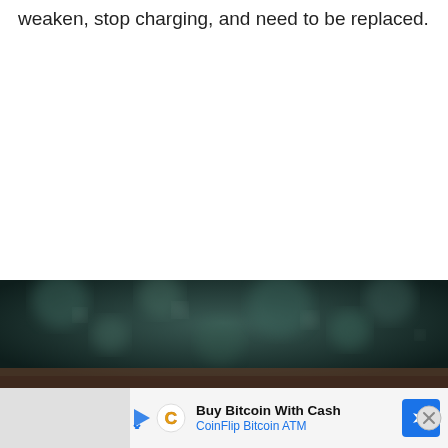weaken, stop charging, and need to be replaced.
[Figure (photo): Dark blurry bokeh background photo, dark teal/green tones with blurred light spots, brown surface visible at bottom]
[Figure (infographic): Advertisement banner: Buy Bitcoin With Cash - CoinFlip Bitcoin ATM, with play icon, CoinFlip logo C, and blue navigation arrow icon, plus a close X button]